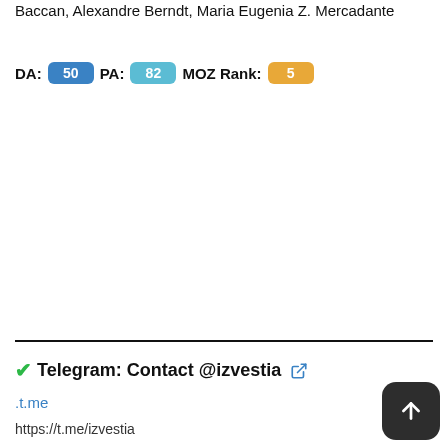Baccan, Alexandre Berndt, Maria Eugenia Z. Mercadante
DA: 50  PA: 82  MOZ Rank: 5
✔Telegram: Contact @izvestia 🔗
.t.me
https://t.me/izvestia